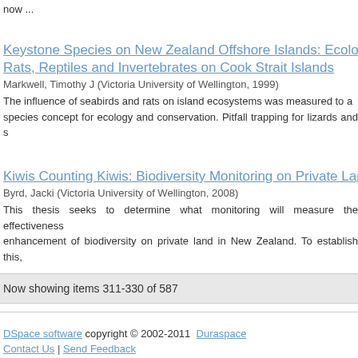now ...
Keystone Species on New Zealand Offshore Islands: Ecological Roles of Seabirds, Rats, Reptiles and Invertebrates on Cook Strait Islands
Markwell, Timothy J (Victoria University of Wellington, 1999)
The influence of seabirds and rats on island ecosystems was measured to assess the keystone species concept for ecology and conservation. Pitfall trapping for lizards and s...
Kiwis Counting Kiwis: Biodiversity Monitoring on Private Land in...
Byrd, Jacki (Victoria University of Wellington, 2008)
This thesis seeks to determine what monitoring will measure the effectiveness of enhancement of biodiversity on private land in New Zealand. To establish this,...
Now showing items 311-330 of 587
DSpace software copyright © 2002-2011  Duraspace Contact Us | Send Feedback